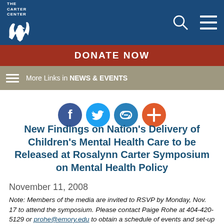THE CARTER CENTER
[Figure (logo): Carter Center eagle logo in white on dark blue background with search and hamburger menu icons]
DONATE NOW
More Links in NEWS & EVENTS
[Figure (infographic): Social sharing icons: Facebook (dark blue circle), Twitter (blue circle), link/chain (blue circle), plus/add (red-orange circle)]
New Findings on Nation's Delivery of Children's Mental Health Care to be Released at Rosalynn Carter Symposium on Mental Health Policy
November 11, 2008
Note:  Members of the media are invited to RSVP by Monday, Nov. 17 to attend the symposium. Please contact Paige Rohe at 404-420-5129 or prohe@emory.edu to obtain a schedule of events and set-up